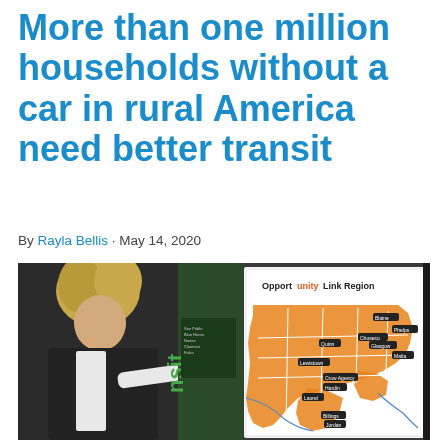More than one million households without a car in rural America need better transit
By Rayla Bellis · May 14, 2020
[Figure (photo): A person pointing at a large map board titled 'Opportunity Link Region' showing an orange-shaded regional transit service area map with county labels and routes.]